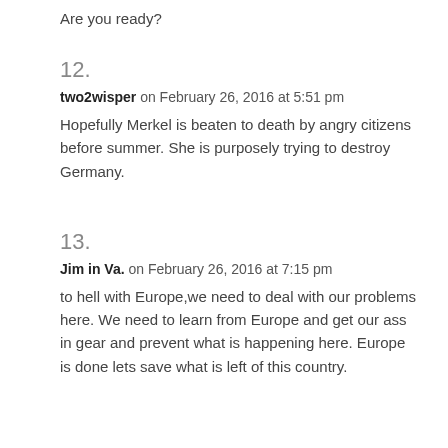Are you ready?
12.
two2wisper on February 26, 2016 at 5:51 pm
Hopefully Merkel is beaten to death by angry citizens before summer. She is purposely trying to destroy Germany.
13.
Jim in Va. on February 26, 2016 at 7:15 pm
to hell with Europe,we need to deal with our problems here. We need to learn from Europe and get our ass in gear and prevent what is happening here. Europe is done lets save what is left of this country.